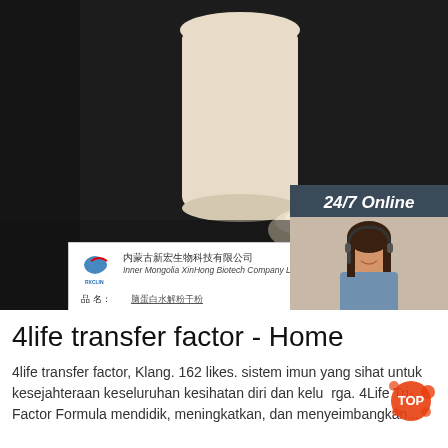[Figure (photo): Product photo showing a bottle/jar of white powder and a dish with white powder on dark background, with a product label card visible]
[Figure (photo): Chat widget overlay showing '24/7 Online' heading, photo of female customer service representative with headset, 'Click here for free chat!' text, and orange QUOTATION button]
4life transfer factor - Home
4life transfer factor, Klang. 162 likes. sistem imun yang sihat untuk kesejahteraan keseluruhan kesihatan diri dan keluarga. 4Life Tri-Factor Formula mendidik, meningkatkan, dan menyeimbangkan...